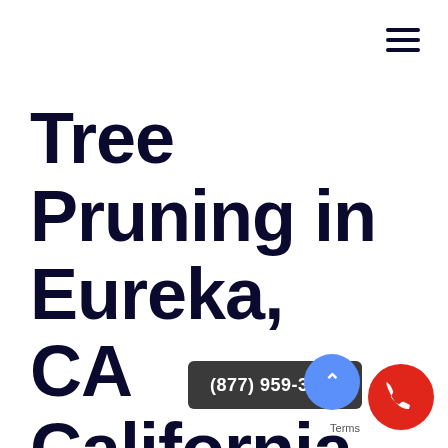[Figure (other): Hamburger menu icon (three horizontal lines) in dark navy color, top right corner]
Tree Pruning in Eureka, CA California 95503
(877) 959-3534
[Figure (other): Blue circular chat/scroll bubble with upward caret, and red circular phone call button with phone handset icon]
Terms